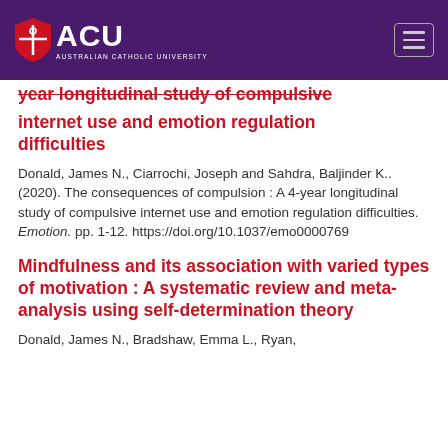[Figure (logo): Australian Catholic University (ACU) header with purple background, ACU shield logo, ACU text, university name, and hamburger menu icon]
year longitudinal study of compulsive internet use and emotion regulation difficulties
Donald, James N., Ciarrochi, Joseph and Sahdra, Baljinder K.. (2020). The consequences of compulsion : A 4-year longitudinal study of compulsive internet use and emotion regulation difficulties. Emotion. pp. 1-12. https://doi.org/10.1037/emo0000769
Mindfulness and its association with varied types of motivation : A systematic review and meta-analysis using self-determination theory
Donald, James N., Bradshaw, Emma L., Ryan,